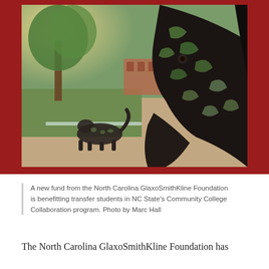[Figure (photo): Metal wolf sculptures on NC State campus outdoor area with trees and brick building in background. Close-up of wolf head sculpture on right, smaller wolf figure on left, green lawn and pathway visible.]
A new fund from the North Carolina GlaxoSmithKline Foundation is benefitting transfer students in NC State's Community College Collaboration program. Photo by Marc Hall
The North Carolina GlaxoSmithKline Foundation has